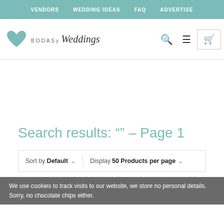VENDORS | WEDDING IDEAS | FAQ | ADVERTISE
[Figure (logo): Bodas y Weddings logo with teal heart, search icon, menu icon, and cart icon]
Search results: “” – Page 1
Sort by Default ⌄ | Display 50 Products per page ⌄
We use cookies to track visits to our website, we store no personal details. Sorry, no chocolate chips either.